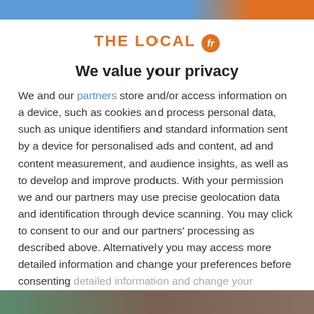[Figure (screenshot): Top navigation bar image strip in blue and orange]
THE LOCAL fr
We value your privacy
We and our partners store and/or access information on a device, such as cookies and process personal data, such as unique identifiers and standard information sent by a device for personalised ads and content, ad and content measurement, and audience insights, as well as to develop and improve products. With your permission we and our partners may use precise geolocation data and identification through device scanning. You may click to consent to our and our partners' processing as described above. Alternatively you may access more detailed information and change your preferences before consenting
ACCEPT
MORE OPTIONS
[Figure (photo): Bottom image strip showing partial photo content]